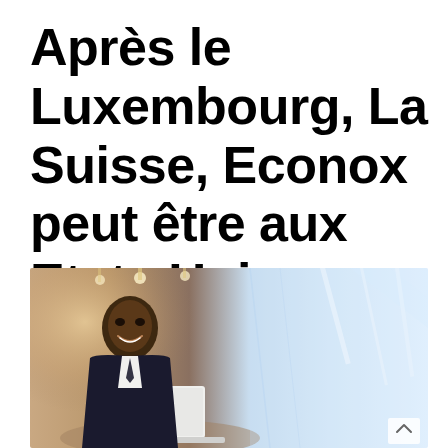Après le Luxembourg, La Suisse, Econox peut être aux Etats Unis
[Figure (photo): A smiling businessman in a dark suit and tie working on a laptop with a coffee cup, seated in a modern office or café environment with glass walls and pendant lighting in the background.]